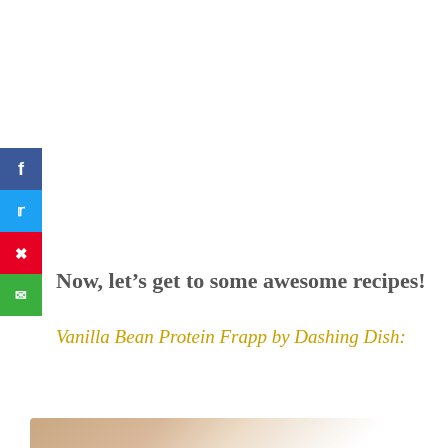[Figure (infographic): Social media sharing sidebar with Facebook (blue), Twitter (cyan), Pinterest (red), and Email (green) icon buttons arranged vertically on the left side of the page]
Now, let’s get to some awesome recipes!
Vanilla Bean Protein Frapp by Dashing Dish:
[Figure (photo): Partial photo of a food/drink item, likely a frappuccino or smoothie, showing warm beige and cream tones at the bottom of the page]